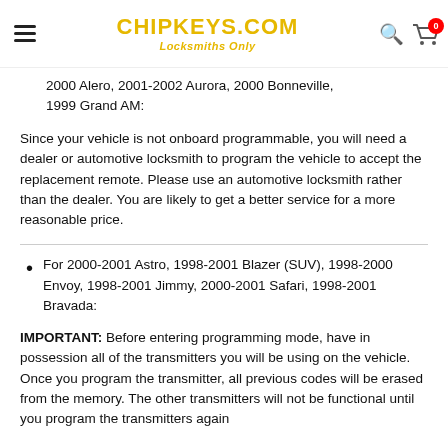CHIPKEYS.COM Locksmiths Only
2000 Alero, 2001-2002 Aurora, 2000 Bonneville, 1999 Grand AM:
Since your vehicle is not onboard programmable, you will need a dealer or automotive locksmith to program the vehicle to accept the replacement remote. Please use an automotive locksmith rather than the dealer. You are likely to get a better service for a more reasonable price.
For 2000-2001 Astro, 1998-2001 Blazer (SUV), 1998-2000 Envoy, 1998-2001 Jimmy, 2000-2001 Safari, 1998-2001 Bravada:
IMPORTANT: Before entering programming mode, have in possession all of the transmitters you will be using on the vehicle. Once you program the transmitter, all previous codes will be erased from the memory. The other transmitters will not be functional until you program the transmitters again